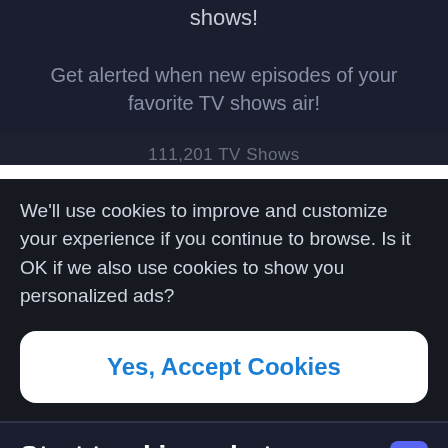shows!
Get alerted when new episodes of your favorite TV shows air!
111,201 TV Shows
We'll use cookies to improve and customize your experience if you continue to browse. Is it OK if we also use cookies to show you personalized ads?
Yes, Accept Cookies
Start tracking what you